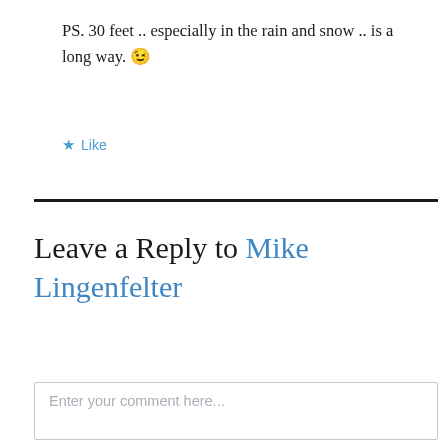PS. 30 feet .. especially in the rain and snow .. is a long way. 😉
★ Like
Leave a Reply to Mike Lingenfelter ×
Enter your comment here...